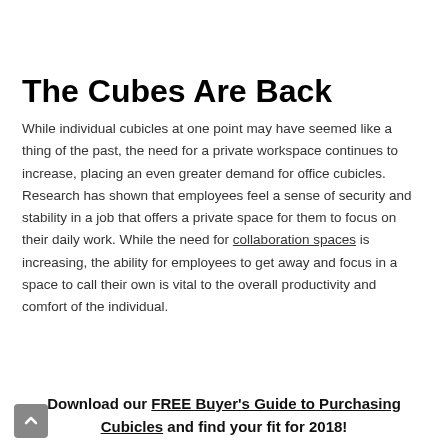The Cubes Are Back
While individual cubicles at one point may have seemed like a thing of the past, the need for a private workspace continues to increase, placing an even greater demand for office cubicles. Research has shown that employees feel a sense of security and stability in a job that offers a private space for them to focus on their daily work. While the need for collaboration spaces is increasing, the ability for employees to get away and focus in a space to call their own is vital to the overall productivity and comfort of the individual.
Download our FREE Buyer's Guide to Purchasing Cubicles and find your fit for 2018!